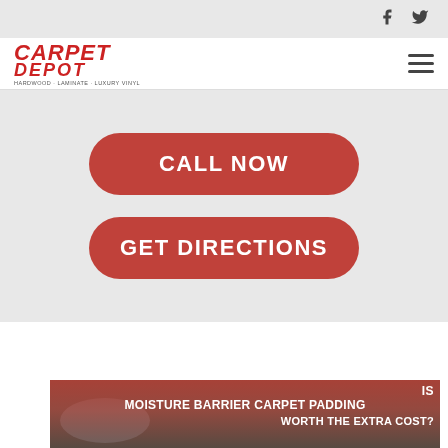f  (twitter bird icon)
[Figure (logo): Carpet Depot logo in red italic text with tagline]
CALL NOW
GET DIRECTIONS
[Figure (photo): Article thumbnail showing vacuum cleaner on carpet with red overlay and text: IS MOISTURE BARRIER CARPET PADDING WORTH THE EXTRA COST?]